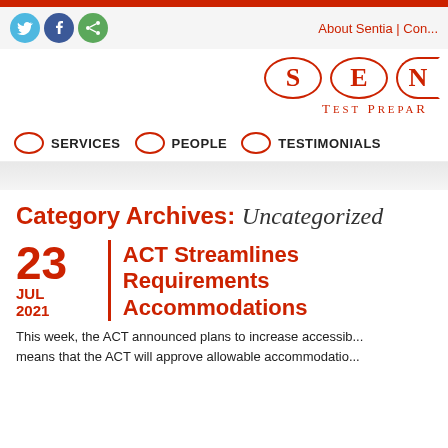About Sentia | Con...
[Figure (logo): Sentia logo with letters S, E, N in red oval outlines and TEST PREPARATION text below]
SERVICES   PEOPLE   TESTIMONIALS
Category Archives: Uncategorized
ACT Streamlines Requirements Accommodations
23 JUL 2021
This week, the ACT announced plans to increase accessibility means that the ACT will approve allowable accommodation